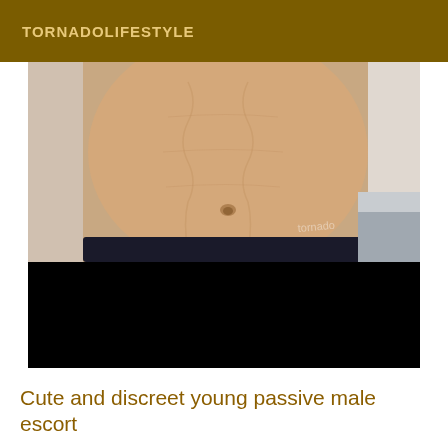TORNADOLIFESTYLE
[Figure (photo): Close-up photo of a person's bare torso/abdomen, with the lower portion blacked out]
Cute and discreet young passive male escort